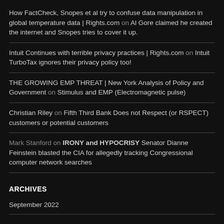How FactCheck, Snopes et al try to confuse data manipulation in global temperature data | Rights.com on Al Gore claimed he created the internet and Snopes tries to cover it up.
Intuit Continues with terrible privacy practices | Rights.com on Intuit TurboTax ignores their privacy policy too!
THE GROWING EMP THREAT | New York Analysis of Policy and Government on Stimulus and EMP (Electromagnetic pulse)
Christian Riley on Fifth Third Bank Does not Respect (or RSPECT) customers or potential customers
Mark Stanford on IRONY and HYPOCRISY Senator Dianne Feinstein blasted the CIA for allegedly tracking Congressional computer network searches
ARCHIVES
September 2022